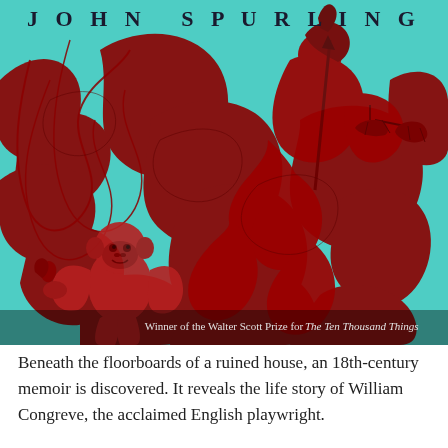JOHN SPURLING
[Figure (illustration): Book cover illustration on a teal/turquoise background showing a baroque red engraving of a female figure representing Justice holding scales and a spear, surrounded by elaborate scrollwork, with a monkey figure in the lower left. Prize text overlay reads: Winner of the Walter Scott Prize for The Ten Thousand Things]
Beneath the floorboards of a ruined house, an 18th-century memoir is discovered. It reveals the life story of William Congreve, the acclaimed English playwright.